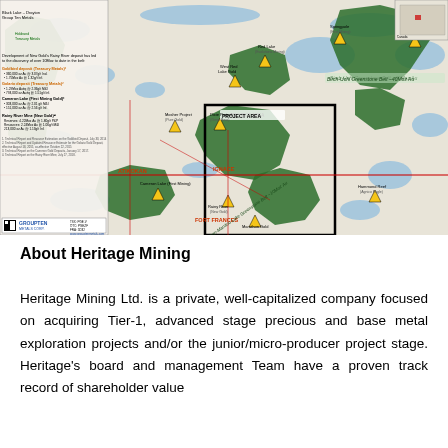[Figure (map): Regional geological map of northwestern Ontario, Canada showing gold mines and projects in the Rainy River area including Birch-Uchi Greenstone Belt, Atikokan-Manitou Lake Greenstone Belt, Project Area highlighted with black box, and various labeled mines/projects (Springpole First Mining, Pickle Lake Auteco, Red Lake Evolutions Mining, West Red Lake Gold, Mosher Project Pure Gold, Dixie Project Great Bear, Cameron Lake First Mining, Rainy River New Gold, Hammond Reef Agnico Eagle, Marathon Gold). Group Ten logo and contact info in lower left. Inset map showing location within Canada.]
About Heritage Mining
Heritage Mining Ltd. is a private, well-capitalized company focused on acquiring Tier-1, advanced stage precious and base metal exploration projects and/or the junior/micro-producer project stage. Heritage's board and management Team have a proven track record of shareholder value